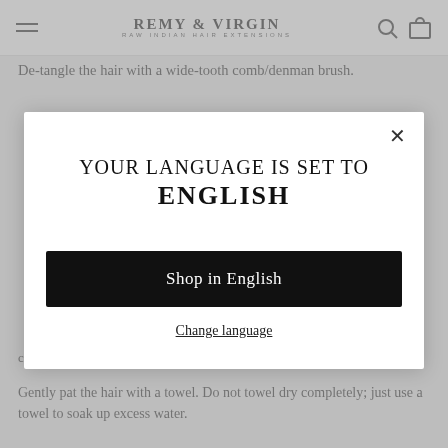REMY & VIRGIN | RAW INDIAN HAIR EXTENSIONS
De-tangle the hair with a wide-tooth comb/denman brush.
YOUR LANGUAGE IS SET TO ENGLISH
Shop in English
Change language
conditioner if you would like)
Gently pat the hair with a towel. Do not towel dry completely; just use a towel to soak up excess water.